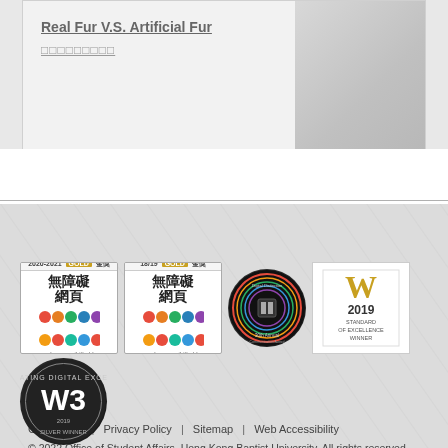[Figure (screenshot): Article card preview showing 'Real Fur V.S. Artificial Fur' title with Chinese subtitle text and a partial photo on the right]
Contact Us  |  Privacy Policy  |  Sitemap  |  Web Accessibility
© 2022 Office of Student Affairs, Hong Kong Baptist University. All rights reserved.
[Figure (logo): 2020-2021 Gold Web Accessibility badge (無障礙網頁) - web-accessibility.hk]
[Figure (logo): 18/19 Gold Web Accessibility badge (無障礙網頁) - web-accessibility.hk]
[Figure (logo): 30th Annual Digital Distinction Awards circular badge]
[Figure (logo): Webware 2019 Standard of Excellence Winner badge]
[Figure (logo): W3 2019 Silver Winner circular award badge]
TOP